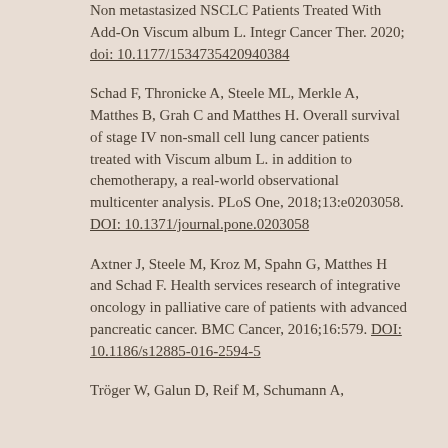Non metastasized NSCLC Patients Treated With Add-On Viscum album L. Integr Cancer Ther. 2020; doi: 10.1177/1534735420940384
Schad F, Thronicke A, Steele ML, Merkle A, Matthes B, Grah C and Matthes H. Overall survival of stage IV non-small cell lung cancer patients treated with Viscum album L. in addition to chemotherapy, a real-world observational multicenter analysis. PLoS One, 2018;13:e0203058. DOI: 10.1371/journal.pone.0203058
Axtner J, Steele M, Kroz M, Spahn G, Matthes H and Schad F. Health services research of integrative oncology in palliative care of patients with advanced pancreatic cancer. BMC Cancer, 2016;16:579. DOI: 10.1186/s12885-016-2594-5
Tröger W, Galun D, Reif M, Schumann A,